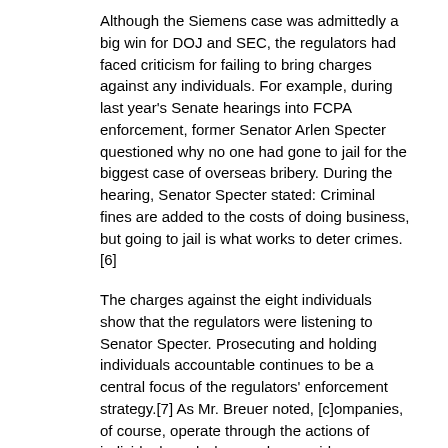Although the Siemens case was admittedly a big win for DOJ and SEC, the regulators had faced criticism for failing to bring charges against any individuals. For example, during last year's Senate hearings into FCPA enforcement, former Senator Arlen Specter questioned why no one had gone to jail for the biggest case of overseas bribery. During the hearing, Senator Specter stated: Criminal fines are added to the costs of doing business, but going to jail is what works to deter crimes.[6]
The charges against the eight individuals show that the regulators were listening to Senator Specter. Prosecuting and holding individuals accountable continues to be a central focus of the regulators' enforcement strategy.[7] As Mr. Breuer noted, [c]ompanies, of course, operate through the actions of individuals and when we have evidence we believe shows those individuals violated the law, we will prosecute them.
FOOTNOTES